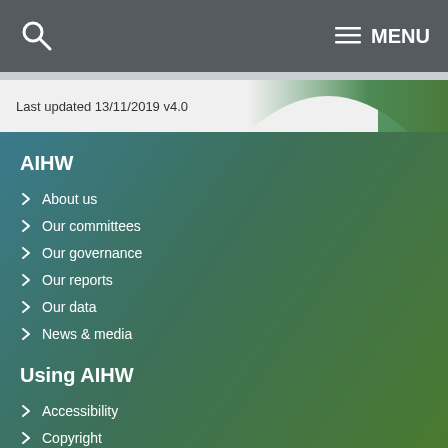MENU (navigation bar with search icon and menu)
Last updated 13/11/2019 v4.0
AIHW
About us
Our committees
Our governance
Our reports
Our data
News & media
Using AIHW
Accessibility
Copyright
Disclaimer